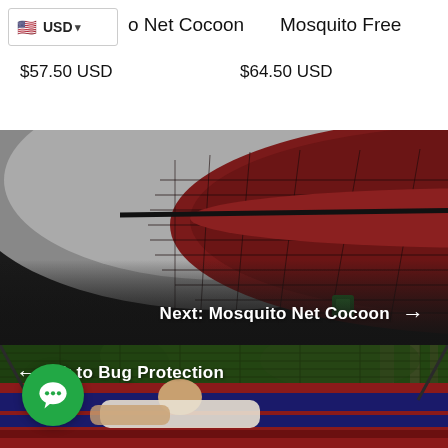USD
o Net Cocoon
Mosquito Free
$57.50 USD
$64.50 USD
[Figure (photo): Close-up of a red hammock with dark green mosquito net enclosure viewed from below/side, dark gradient overlay at bottom]
Next: Mosquito Net Cocoon →
[Figure (photo): Woman reclining in a red and blue striped hammock with mosquito net in a forest setting]
← ck to Bug Protection